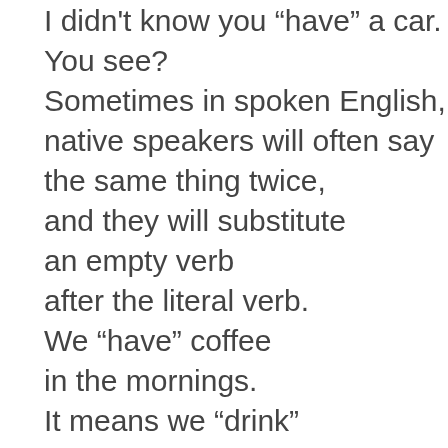I didn't know you “have” a car.
You see?
Sometimes in spoken English, native speakers will often say the same thing twice, and they will substitute an empty verb after the literal verb.
We “have” coffee in the mornings.
It means we “drink” coffee in the mornings.
Hey! I “drink” coffee in the mornings.